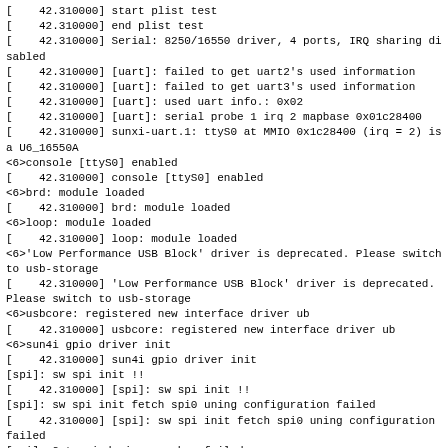[    42.310000] start plist test
[    42.310000] end plist test
[    42.310000] Serial: 8250/16550 driver, 4 ports, IRQ sharing disabled
[    42.310000] [uart]: failed to get uart2's used information
[    42.310000] [uart]: failed to get uart3's used information
[    42.310000] [uart]: used uart info.: 0x02
[    42.310000] [uart]: serial probe 1 irq 2 mapbase 0x01c28400
[    42.310000] sunxi-uart.1: ttyS0 at MMIO 0x1c28400 (irq = 2) is a U6_16550A
<6>console [ttyS0] enabled
[    42.310000] console [ttyS0] enabled
<6>brd: module loaded
[    42.310000] brd: module loaded
<6>loop: module loaded
[    42.310000] loop: module loaded
<6>'Low Performance USB Block' driver is deprecated. Please switch to usb-storage
[    42.310000] 'Low Performance USB Block' driver is deprecated. Please switch to usb-storage
<6>usbcore: registered new interface driver ub
[    42.310000] usbcore: registered new interface driver ub
<6>sun4i gpio driver init
[    42.310000] sun4i gpio driver init
[spi]: sw spi init !!
[    42.310000] [spi]: sw spi init !!
[spi]: sw spi init fetch spi0 uning configuration failed
[    42.310000] [spi]: sw spi init fetch spi0 uning configuration failed
[spi]: Get spi devices number failed
[    42.310000] [spi]: Get spi devices number failed
[spi]: register spi devices board info failed
[    42.310000] [spi]: register spi devices board info failed
[spi]: drivers/spi/spi_sunxi.c(L1872) [    42.310000] [spi]: drivers/spi/spi_sunxi.c(L1872) get spi 2 para failed, err code = -4
get spi 2 para failed, err code = -4
[spi]: source = sdram_pll_p, src_clk = 408000000, mclk 102000000
[    42.310000] [spi]: source = sdram_pll_p, src_clk = 408000000, mclk 102000000
<6>sun5i-spi sun5i-spi.2: master is unqueued, this is deprecated